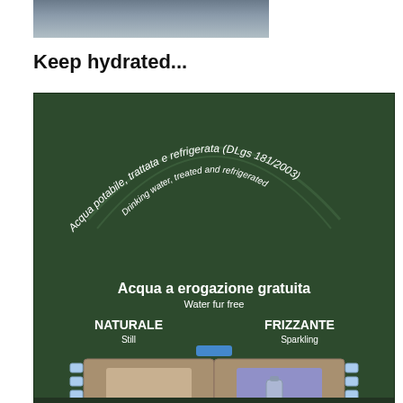[Figure (photo): Top portion of a photo showing what appears to be a person or clothing, partially cropped at the top of the page.]
Keep hydrated...
[Figure (photo): Photo of a dark green free water dispensing machine (Italian public water station). The machine reads 'Acqua potabile, trattata e refrigerata (DLgs 181/2003)' and 'Drinking water, treated and refrigerated' in an arc at the top. Below is 'Acqua a erogazione gratuita' (Water for free) with two dispensing bays labeled 'NATURALE / Still' on the left and 'FRIZZANTE / Sparkling' on the right. A water bottle is visible in the right bay.]